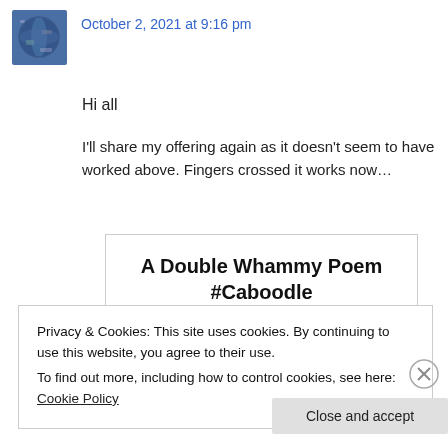[Figure (photo): Small square avatar image of a globe/earth photo]
October 2, 2021 at 9:16 pm
Hi all
I'll share my offering again as it doesn't seem to have worked above. Fingers crossed it works now…
A Double Whammy Poem #Caboodle
Privacy & Cookies: This site uses cookies. By continuing to use this website, you agree to their use.
To find out more, including how to control cookies, see here: Cookie Policy
Close and accept